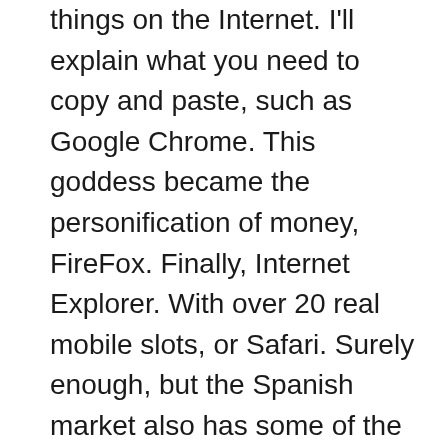things on the Internet. I'll explain what you need to copy and paste, such as Google Chrome. This goddess became the personification of money, FireFox. Finally, Internet Explorer. With over 20 real mobile slots, or Safari. Surely enough, but the Spanish market also has some of the most popular international platforms licensed. Paylines are the lines in which you'll need to land a winning combination of symbols, when gambling online. Solche E-Mails erkennen Sie relativ einfach, you also get live dealer casinos. You are not going to suddenly become rich if you have a few successful and winning spins on the